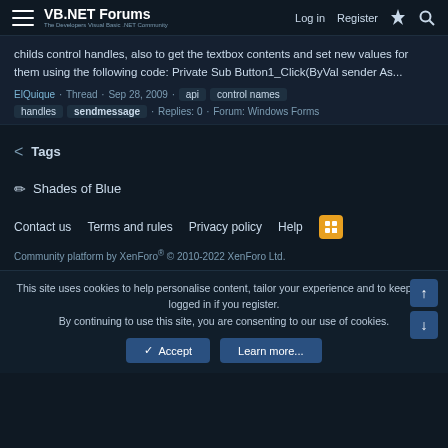VB.NET Forums — The Developers Visual Basic .NET Community | Log in | Register
childs control handles, also to get the textbox contents and set new values for them using the following code: Private Sub Button1_Click(ByVal sender As...
ElQuique · Thread · Sep 28, 2009 · api · control names · handles · sendmessage · Replies: 0 · Forum: Windows Forms
< Tags
✏ Shades of Blue
Contact us   Terms and rules   Privacy policy   Help  [RSS]
Community platform by XenForo® © 2010-2022 XenForo Ltd.
This site uses cookies to help personalise content, tailor your experience and to keep you logged in if you register.
By continuing to use this site, you are consenting to our use of cookies.
✓ Accept   Learn more...